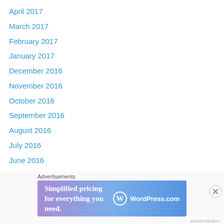April 2017
March 2017
February 2017
January 2017
December 2016
November 2016
October 2016
September 2016
August 2016
July 2016
June 2016
May 2016
April 2016
March 2016
February 2016
January 2016
Advertisements
[Figure (other): WordPress.com advertisement banner: Simplified pricing for everything you need.]